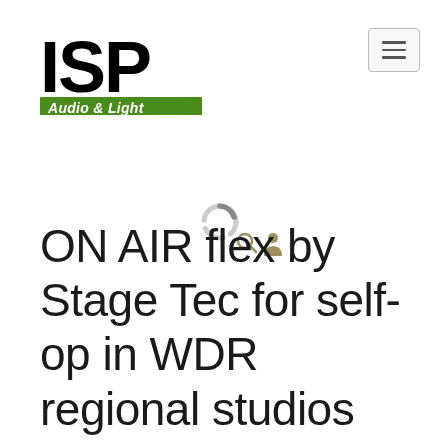[Figure (logo): ISP Audio & Light logo — large black bold 'ISP' text above a green badge reading 'Audio & Light' in white italic text]
[Figure (screenshot): Hamburger menu icon button — three horizontal lines inside a light grey rounded rectangle border, positioned top-right]
[Figure (screenshot): Loading spinner icon — circular dashed ring in grey, partially filled, indicating page loading state. Search and user account icons in khaki/tan color to the right.]
ON AIR flex by Stage Tec for self-op in WDR regional studios